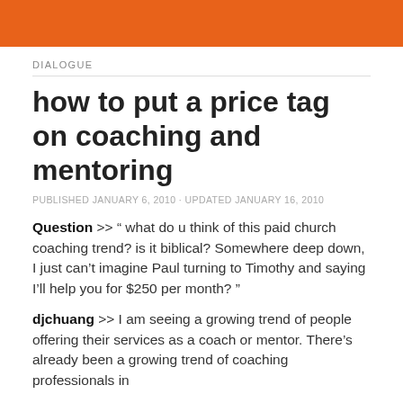DIALOGUE
how to put a price tag on coaching and mentoring
PUBLISHED JANUARY 6, 2010 · UPDATED JANUARY 16, 2010
Question >> " what do u think of this paid church coaching trend? is it biblical? Somewhere deep down, I just can't imagine Paul turning to Timothy and saying I'll help you for $250 per month? "
djchuang >> I am seeing a growing trend of people offering their services as a coach or mentor. There's already been a growing trend of coaching professionals in